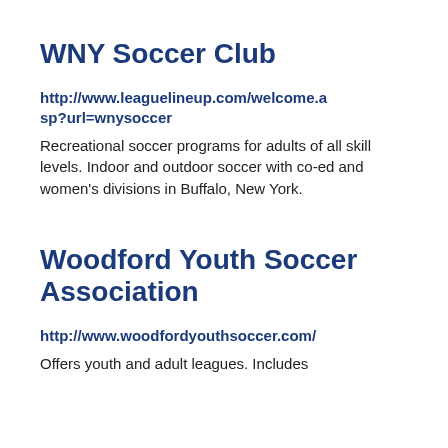WNY Soccer Club
http://www.leaguelineup.com/welcome.asp?url=wnysoccer
Recreational soccer programs for adults of all skill levels. Indoor and outdoor soccer with co-ed and women's divisions in Buffalo, New York.
Woodford Youth Soccer Association
http://www.woodfordyouthsoccer.com/
Offers youth and adult leagues. Includes information about schedules and registration.